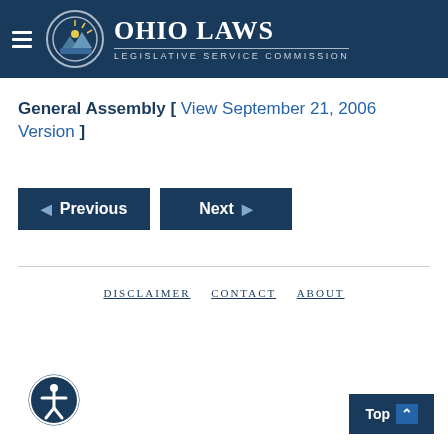Ohio Laws — Legislative Service Commission
General Assembly [ View September 21, 2006 Version ]
Previous
Next
DISCLAIMER   CONTACT   ABOUT